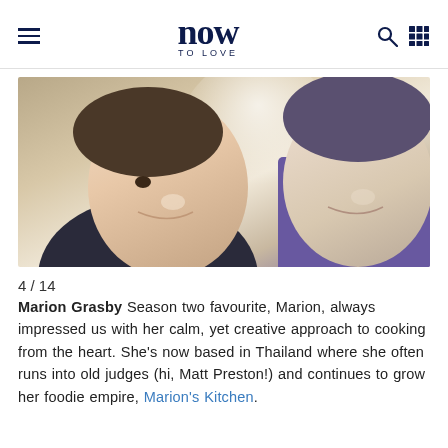now TO LOVE
[Figure (photo): Selfie photo of two people smiling closely together, cropped from chest up, warm tones]
4 / 14
Marion Grasby Season two favourite, Marion, always impressed us with her calm, yet creative approach to cooking from the heart. She's now based in Thailand where she often runs into old judges (hi, Matt Preston!) and continues to grow her foodie empire, Marion's Kitchen.